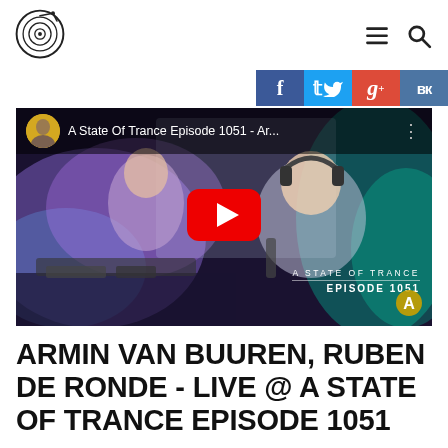[Figure (logo): DJ turntable logo mark — circular icon with concentric rings and center dot]
[Figure (screenshot): YouTube video thumbnail for 'A State Of Trance Episode 1051 - Ar...' showing two men in a radio studio with colorful lighting. A red YouTube play button is centered on the image. Bottom right shows 'A STATE OF TRANCE / EPISODE 1051' text overlay and an Armada Music 'A' logo.]
ARMIN VAN BUUREN, RUBEN DE RONDE - LIVE @ A STATE OF TRANCE EPISODE 1051